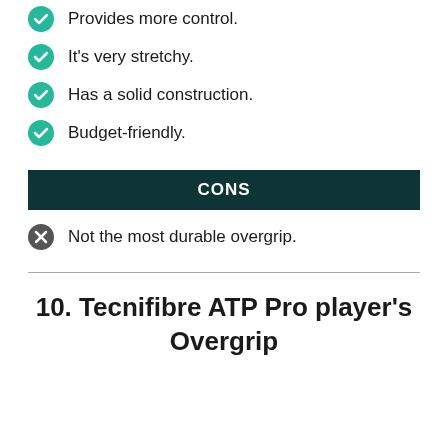Provides more control.
It's very stretchy.
Has a solid construction.
Budget-friendly.
CONS
Not the most durable overgrip.
10. Tecnifibre ATP Pro player's Overgrip